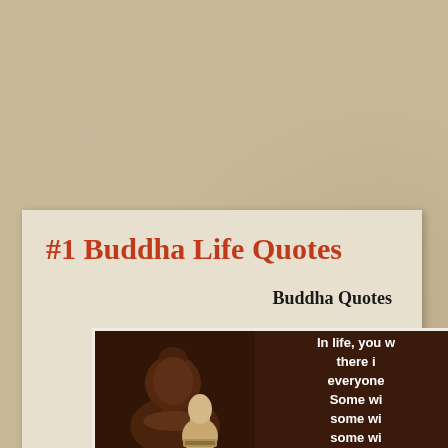#1 Buddha Life Quotes
Buddha Quotes
[Figure (photo): A Buddha statue figurine in dark terracotta/brown tones against a dark brown background, with overlaid white bold text reading: 'In life, you w... there i... everyone... Some wi... some wi... some wi...' (partially cropped)]